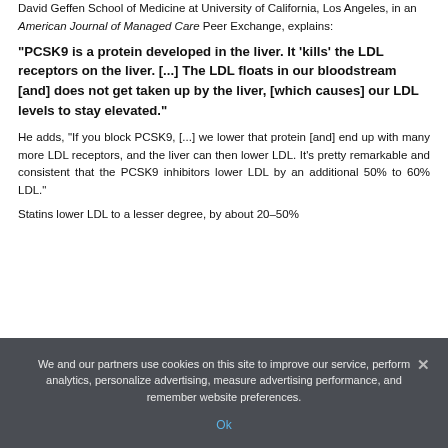David Geffen School of Medicine at University of California, Los Angeles, in an American Journal of Managed Care Peer Exchange, explains:
"PCSK9 is a protein developed in the liver. It 'kills' the LDL receptors on the liver. [...] The LDL floats in our bloodstream [and] does not get taken up by the liver, [which causes] our LDL levels to stay elevated."
He adds, "If you block PCSK9, [...] we lower that protein [and] end up with many more LDL receptors, and the liver can then lower LDL. It's pretty remarkable and consistent that the PCSK9 inhibitors lower LDL by an additional 50% to 60% LDL."
Statins lower LDL to a lesser degree, by about 20–50%
We and our partners use cookies on this site to improve our service, perform analytics, personalize advertising, measure advertising performance, and remember website preferences.
Ok